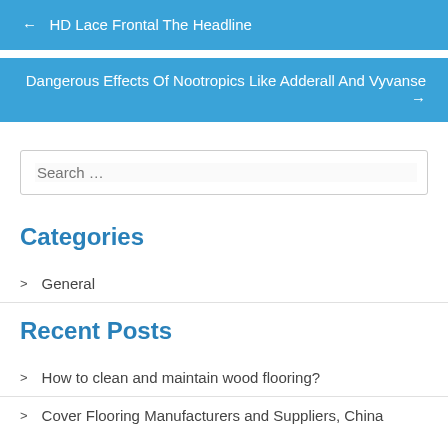← HD Lace Frontal The Headline
Dangerous Effects Of Nootropics Like Adderall And Vyvanse →
Search …
Categories
> General
Recent Posts
> How to clean and maintain wood flooring?
> Cover Flooring Manufacturers and Suppliers, China